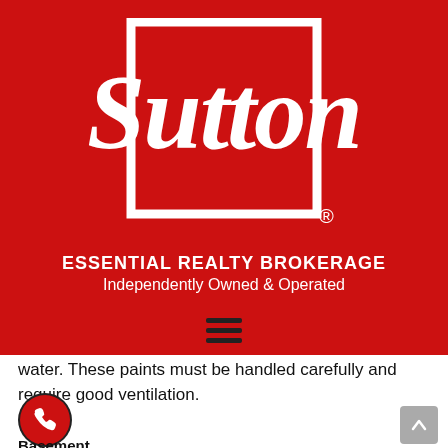[Figure (logo): Sutton Essential Realty Brokerage logo — white 'Sutton' script inside a white square outline on red background, with registered trademark symbol. Below: 'ESSENTIAL REALTY BROKERAGE' and 'Independently Owned & Operated' in white text on red.]
water. These paints must be handled carefully and require good ventilation.
Basement